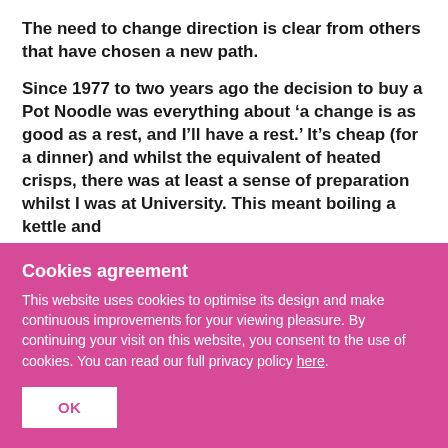The need to change direction is clear from others that have chosen a new path.
Since 1977 to two years ago the decision to buy a Pot Noodle was everything about ‘a change is as good as a rest, and I’ll have a rest.’ It’s cheap (for a dinner) and whilst the equivalent of heated crisps, there was at least a sense of preparation whilst I was at University. This meant boiling a kettle and
Cookies agreement
This website uses cookies to optimise its design and make continuous improvements for your viewing pleasure. By continuing your visit on this website, you consent to the use of cookies. You can read our full privacy policy here.